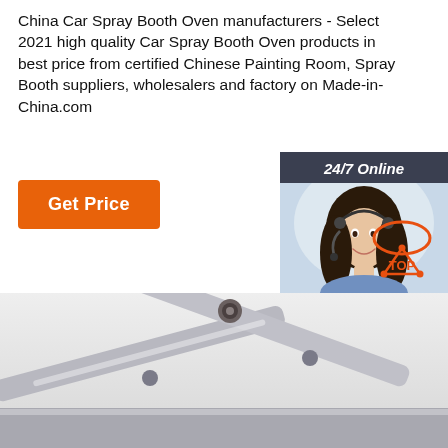China Car Spray Booth Oven manufacturers - Select 2021 high quality Car Spray Booth Oven products in best price from certified Chinese Painting Room, Spray Booth suppliers, wholesalers and factory on Made-in-China.com
[Figure (other): Orange 'Get Price' button]
[Figure (other): Right sidebar panel with '24/7 Online' label, customer service representative photo, 'Click here for free chat!' text and orange QUOTATION button on dark navy background]
[Figure (logo): BEC 欧霸客 company logo - stylized letters bec with Chinese characters]
[Figure (photo): Product photo showing car spray booth oven mechanical arm/scissor lift mechanism in grey metal, viewed from close up angle]
[Figure (other): TOP badge with orange triangle and circle design in bottom right]